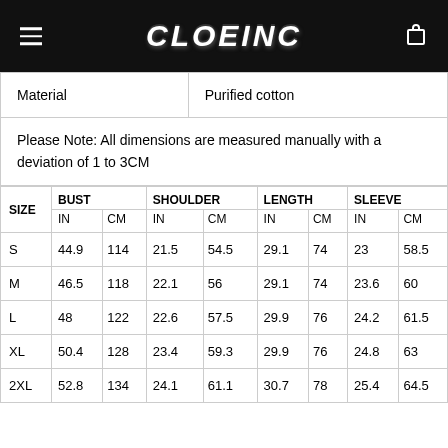CLOEINC
| Material | Purified cotton |
| --- | --- |
Please Note: All dimensions are measured manually with a deviation of 1 to 3CM
| SIZE | BUST IN | BUST CM | SHOULDER IN | SHOULDER CM | LENGTH IN | LENGTH CM | SLEEVE IN | SLEEVE CM |
| --- | --- | --- | --- | --- | --- | --- | --- | --- |
| S | 44.9 | 114 | 21.5 | 54.5 | 29.1 | 74 | 23 | 58.5 |
| M | 46.5 | 118 | 22.1 | 56 | 29.1 | 74 | 23.6 | 60 |
| L | 48 | 122 | 22.6 | 57.5 | 29.9 | 76 | 24.2 | 61.5 |
| XL | 50.4 | 128 | 23.4 | 59.3 | 29.9 | 76 | 24.8 | 63 |
| 2XL | 52.8 | 134 | 24.1 | 61.1 | 30.7 | 78 | 25.4 | 64.5 |